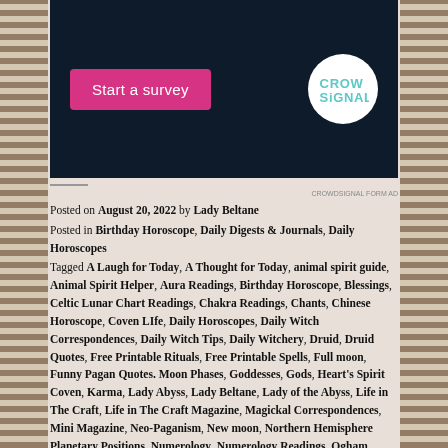[Figure (screenshot): Dark navy survey banner with a pink 'Start a survey' button on the left and Crowdsignal circular white logo on the right]
Posted on August 20, 2022 by Lady Beltane
Posted in Birthday Horoscope, Daily Digests & Journals, Daily Horoscopes
Tagged A Laugh for Today, A Thought for Today, animal spirit guide, Animal Spirit Helper, Aura Readings, Birthday Horoscope, Blessings, Celtic Lunar Chart Readings, Chakra Readings, Chants, Chinese Horoscope, Coven LIfe, Daily Horoscopes, Daily Witch Correspondences, Daily Witch Tips, Daily Witchery, Druid, Druid Quotes, Free Printable Rituals, Free Printable Spells, Full moon, Funny Pagan Quotes. Moon Phases, Goddesses, Gods, Heart's Spirit Coven, Karma, Lady Abyss, Lady Beltane, Lady of the Abyss, Life in The Craft, Life in The Craft Magazine, Magickal Correspondences, Mini Magazine, Neo-Paganism, New moon, Northern Hemisphere Planetary Positions, Numerology, Numerology Readings, Ogham Readings, Online coven, Online Witchcraft School, Pagan, Pagan Knowledge, Pagan Quotes, Pagan Terminology, Pagan Terms, Pagan Word Definitions, Pagan Words, Paganism, Printable Coloring Page